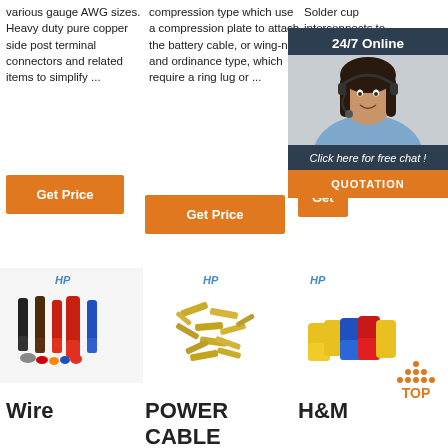various gauge AWG sizes. Heavy duty pure copper side post terminal connectors and related items to simplify ...
compression type which use a compression plate to attach the battery cable, or wing-nut, and ordinance type, which require a ring lug or ...
Solder cup interconnects to hermetic connector and extend it to all connec...
Get Price
Get Price
Get
24/7 Online
[Figure (photo): Customer service agent woman with headset smiling]
Click here for free chat !
QUOTATION
[Figure (photo): Wire ferrule end terminals in various colors]
[Figure (photo): Gold colored power cable connectors pile]
[Figure (photo): H&M colored insulated connectors in blue, red, yellow]
Wire
POWER CABLE
H&M